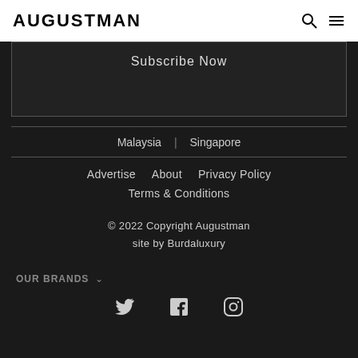AUGUSTMAN
Subscribe Now
Malaysia | Singapore
Advertise   About   Privacy Policy
Terms & Conditions
© 2022 Copyright Augustman
site by Burdaluxury
OUR BRANDS
[Figure (logo): Social media icons: Twitter, Facebook, Instagram]